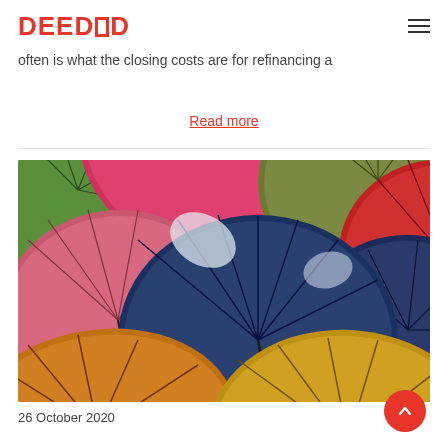DEEDED
often is what the closing costs are for refinancing a
Read more
[Figure (photo): Colorful umbrellas viewed from below against a bright sky — multiple overlapping open umbrellas in pink, green, red, orange, yellow, blue, and dark navy colors.]
26 October 2020